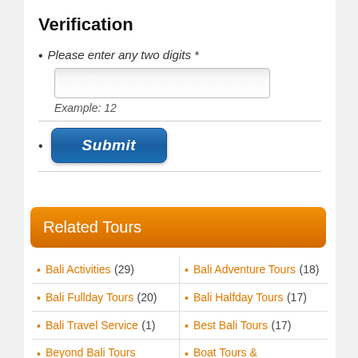Verification
Please enter any two digits *
Example: 12
Submit
Related Tours
| Column 1 | Column 2 |
| --- | --- |
| Bali Activities (29) | Bali Adventure Tours (18) |
| Bali Fullday Tours (20) | Bali Halfday Tours (17) |
| Bali Travel Service (1) | Best Bali Tours (17) |
| Beyond Bali Tours | Boat Tours & |